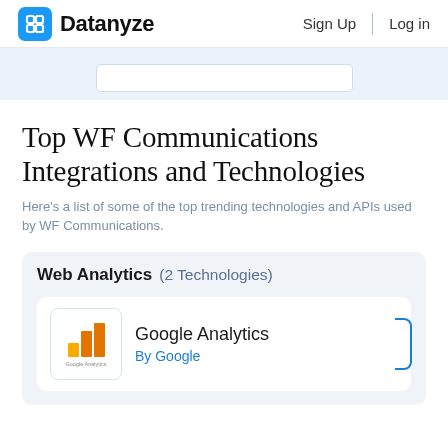Datanyze   Sign Up   Log in
Top WF Communications Integrations and Technologies
Here's a list of some of the top trending technologies and APIs used by WF Communications.
Web Analytics (2 Technologies)
Google Analytics  By Google
[Figure (logo): Google Analytics logo: orange bar chart icon with 'Google Analytics' text below]